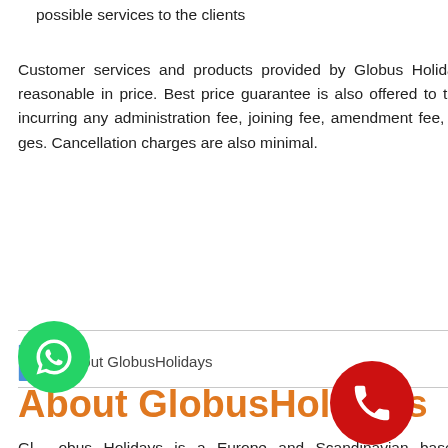possible services to the clients
Customer services and products provided by Globus Holidays are best in quality and reasonable in price. Best price guarantee is also offered to the network partners, without incurring any administration fee, joining fee, amendment fee, commissions or hidden charges. Cancellation charges are also minimal.
About GlobusHolidays
About GlobusHolidays
Globus Holidays is a Europe and Scandinavian based Destination Management Company with its Head Office in Switzerland. Globu Holidays specialises in offering professional ground handling services to tour operators & travel agents for their FIT and Group bookings providing extensive local knowledge &